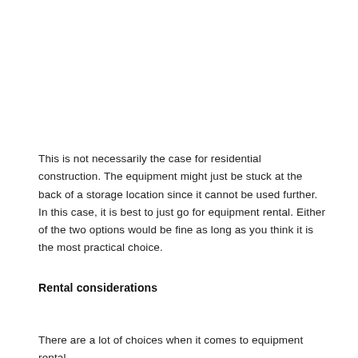This is not necessarily the case for residential construction. The equipment might just be stuck at the back of a storage location since it cannot be used further. In this case, it is best to just go for equipment rental. Either of the two options would be fine as long as you think it is the most practical choice.
Rental considerations
There are a lot of choices when it comes to equipment rental